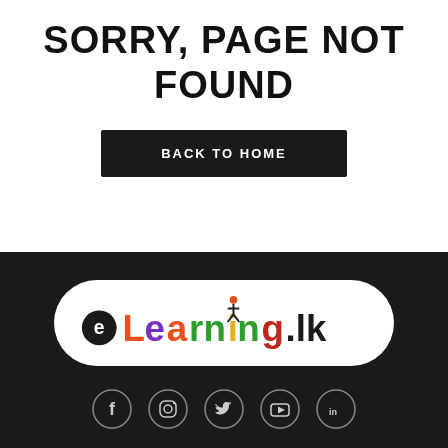SORRY, PAGE NOT FOUND
BACK TO HOME
[Figure (logo): eLearning.lk logo on white pill-shaped background with colorful letters]
[Figure (infographic): Social media icons: Facebook, Instagram, Twitter, YouTube, LinkedIn in circles on dark background]